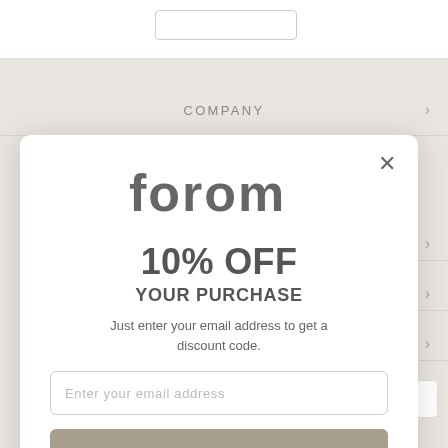COMPANY
[Figure (screenshot): Popup modal offering 10% OFF discount with forom logo, email input field and GET DISCOUNT CODE NOW button]
forom
10% OFF
YOUR PURCHASE
Just enter your email address to get a discount code.
Enter your email address
GET DISCOUNT CODE NOW